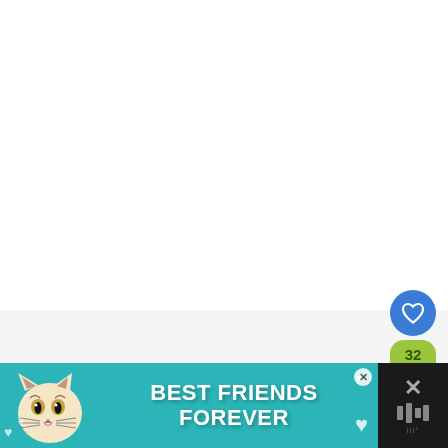[Figure (screenshot): White content area - main page body, mostly blank/white]
[Figure (infographic): Social action buttons on right side: blue heart/like button (circular), green share count showing 32, green share button with plus icon]
[Figure (infographic): Advertisement banner at bottom showing teal/cyan background with cat illustration, text 'BEST FRIENDS FOREVER' in bold white, close button, and dark panel on right with X close icon and app icon]